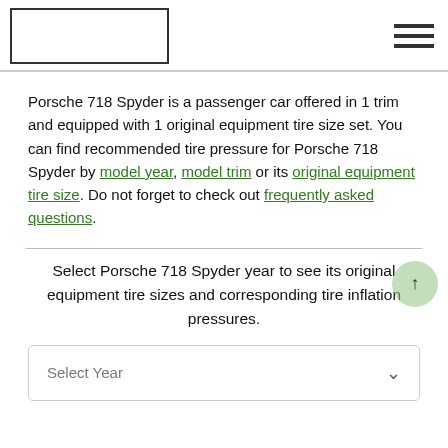[logo] [navigation menu]
Porsche 718 Spyder is a passenger car offered in 1 trim and equipped with 1 original equipment tire size set. You can find recommended tire pressure for Porsche 718 Spyder by model year, model trim or its original equipment tire size. Do not forget to check out frequently asked questions.
Select Porsche 718 Spyder year to see its original equipment tire sizes and corresponding tire inflation pressures.
Select Year